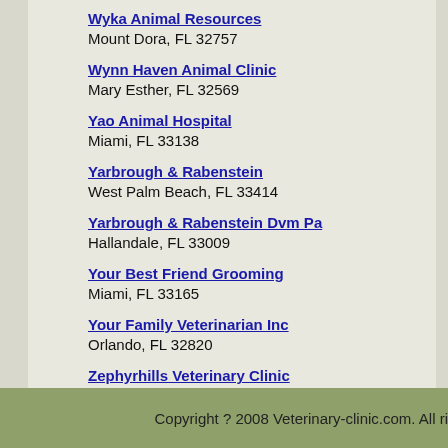Wyka Animal Resources
Mount Dora, FL 32757
Wynn Haven Animal Clinic
Mary Esther, FL 32569
Yao Animal Hospital
Miami, FL 33138
Yarbrough & Rabenstein
West Palm Beach, FL 33414
Yarbrough & Rabenstein Dvm Pa
Hallandale, FL 33009
Your Best Friend Grooming
Miami, FL 33165
Your Family Veterinarian Inc
Orlando, FL 32820
Zephyrhills Veterinary Clinic
Zephyrhills, FL 33542
Copyright ? 2008 Veterinary-clinic.com. All ri